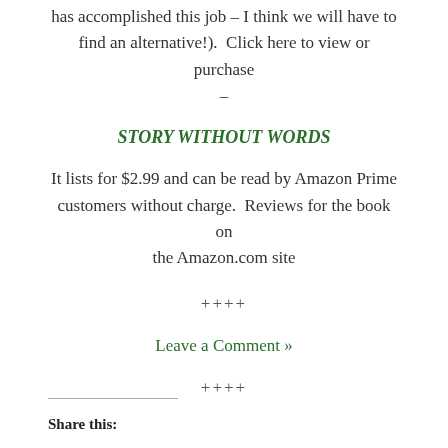has accomplished this job – I think we will have to find an alternative!).  Click here to view or purchase –
STORY WITHOUT WORDS
It lists for $2.99 and can be read by Amazon Prime customers without charge.  Reviews for the book on the Amazon.com site
++++
Leave a Comment »
++++
Share this: